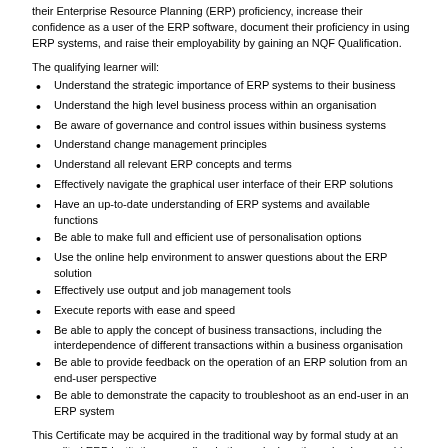their Enterprise Resource Planning (ERP) proficiency, increase their confidence as a user of the ERP software, document their proficiency in using ERP systems, and raise their employability by gaining an NQF Qualification.
The qualifying learner will:
Understand the strategic importance of ERP systems to their business
Understand the high level business process within an organisation
Be aware of governance and control issues within business systems
Understand change management principles
Understand all relevant ERP concepts and terms
Effectively navigate the graphical user interface of their ERP solutions
Have an up-to-date understanding of ERP systems and available functions
Be able to make full and efficient use of personalisation options
Use the online help environment to answer questions about the ERP solution
Effectively use output and job management tools
Execute reports with ease and speed
Be able to apply the concept of business transactions, including the interdependence of different transactions within a business organisation
Be able to provide feedback on the operation of an ERP solution from an end-user perspective
Be able to demonstrate the capacity to troubleshoot as an end-user in an ERP system
This Certificate may be acquired in the traditional way by formal study at an accredited ERP institution, as well as in the work place through a Learnership.
This learning supports the objectives of the NQF through increased portability and articulation of learning and career path progression. By